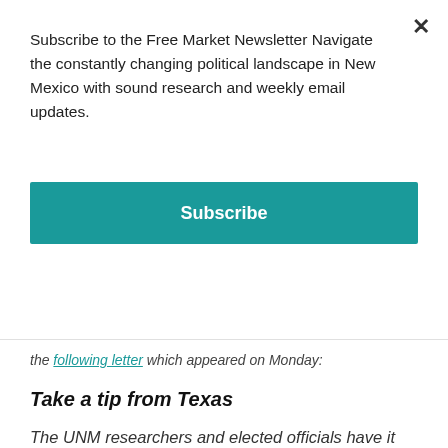Subscribe to the Free Market Newsletter Navigate the constantly changing political landscape in New Mexico with sound research and weekly email updates.
Subscribe
the following letter which appeared on Monday:
Take a tip from Texas
The UNM researchers and elected officials have it exactly wrong when they say, as Sen. Tim Keller did, that “we can’t expect to build a rich, diverse, growing economy when 60 percent of our work force leaves our state.” (“N.M. faces struggle to keep best and